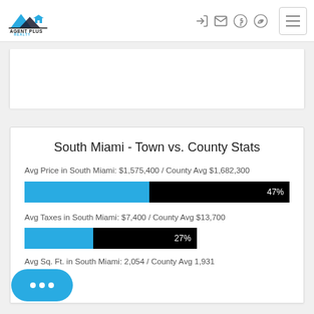[Figure (logo): Agent Plus Realty logo with mountain/house icon above text]
South Miami - Town vs. County Stats
Avg Price in South Miami: $1,575,400 / County Avg $1,682,300
[Figure (bar-chart): Avg Price percentage bar]
Avg Taxes in South Miami: $7,400 / County Avg $13,700
[Figure (bar-chart): Avg Taxes percentage bar]
Avg Sq. Ft. in South Miami: 2,054 / County Avg 1,931